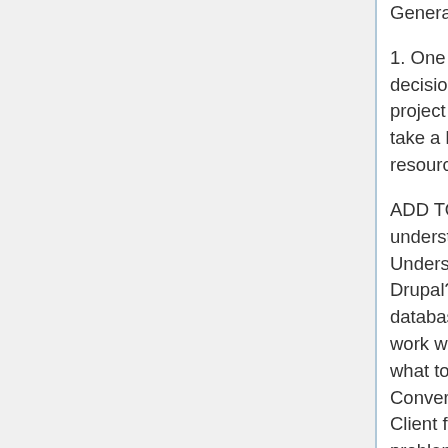Generalist trouble shooter role.
1. One dedicated internal project manager. Making decisions. 2. PM has to dedicate as much time to project as possible. Urgent, deadline driven. DDbase take a lot of time/energy. Staff relief. Allocate the resources. 3. It takes a village. Not
ADD TO NOTES: Colin: What - have a better understanding of the system your using. - Understand the pitfalls that come up. - CVSRM in Drupal? - moving target - compiling different access database. - Needed static (versus active) dbases to work with. - Thinking thru comprehensive process of what to freeze and what to let stay active. - Conversion – getting a full copy of data to convert. - Client freeze copy of dbase. - Can't figure out the problem unless data is static.